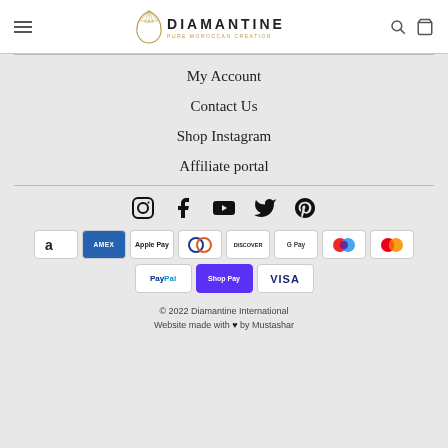Diamantine — Pure Moroccan Creation
My Account
Contact Us
Shop Instagram
Affiliate portal
[Figure (other): Social media icons row: Instagram, Facebook, YouTube, Twitter, Pinterest]
[Figure (other): Payment method badges: Amazon, Amex, Apple Pay, Diners Club, Discover, Google Pay, Maestro, Mastercard, PayPal, Shop Pay, Visa]
© 2022 Diamantine International
Website made with ♥ by Mustashar